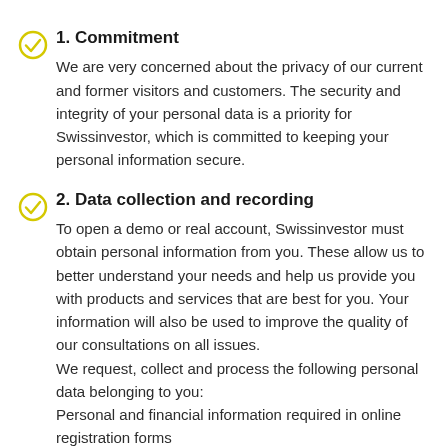1. Commitment
We are very concerned about the privacy of our current and former visitors and customers. The security and integrity of your personal data is a priority for Swissinvestor, which is committed to keeping your personal information secure.
2. Data collection and recording
To open a demo or real account, Swissinvestor must obtain personal information from you. These allow us to better understand your needs and help us provide you with products and services that are best for you. Your information will also be used to improve the quality of our consultations on all issues.
We request, collect and process the following personal data belonging to you:
Personal and financial information required in online registration forms
Documents justifying your identity and residence